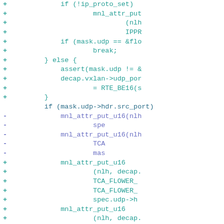[Figure (screenshot): Code diff view showing changes to a C source file with added lines (green/teal, marked with +) and removed lines (purple, marked with -). The code involves network filter functions including mask.udp, mnl_attr_put_u16, TCA_FLOWER, decap.vxlan, and RTE_BE16 operations.]